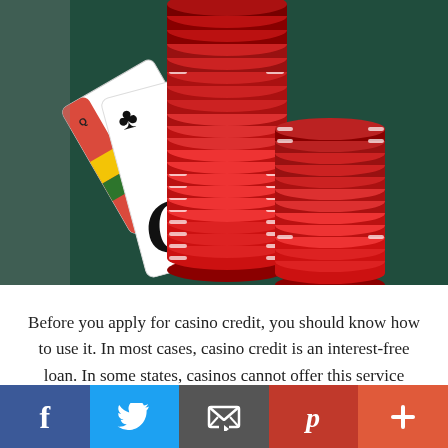[Figure (photo): Casino chips stacked in tall red columns and playing cards (queen of clubs and queen of spades) on a dark green felt table surface]
Before you apply for casino credit, you should know how to use it. In most cases, casino credit is an interest-free loan. In some states, casinos cannot offer this service Playtech Casino Malaysia. Those who want to use
[Figure (infographic): Social media share bar with Facebook, Twitter, Email, Pinterest, and Plus buttons]